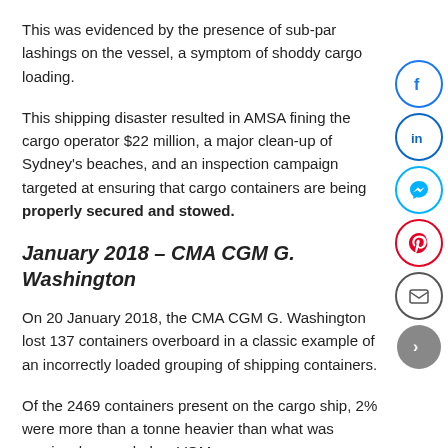This was evidenced by the presence of sub-par lashings on the vessel, a symptom of shoddy cargo loading.
This shipping disaster resulted in AMSA fining the cargo operator $22 million, a major clean-up of Sydney's beaches, and an inspection campaign targeted at ensuring that cargo containers are being properly secured and stowed.
January 2018 – CMA CGM G. Washington
On 20 January 2018, the CMA CGM G. Washington lost 137 containers overboard in a classic example of an incorrectly loaded grouping of shipping containers.
Of the 2469 containers present on the cargo ship, 2% were more than a tonne heavier than what was previously recorded as VGM.
What made it even worse was that the vessel also used non-standard 53ft containers, incorrect stowing of containers and